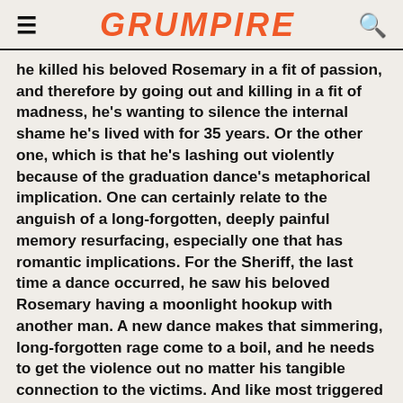GRUMPIRE
he killed his beloved Rosemary in a fit of passion, and therefore by going out and killing in a fit of madness, he's wanting to silence the internal shame he's lived with for 35 years. Or the other one, which is that he's lashing out violently because of the graduation dance's metaphorical implication. One can certainly relate to the anguish of a long-forgotten, deeply painful memory resurfacing, especially one that has romantic implications. For the Sheriff, the last time a dance occurred, he saw his beloved Rosemary having a moonlight hookup with another man. A new dance makes that simmering, long-forgotten rage come to a boil, and he needs to get the violence out no matter his tangible connection to the victims. And like most triggered and deranged